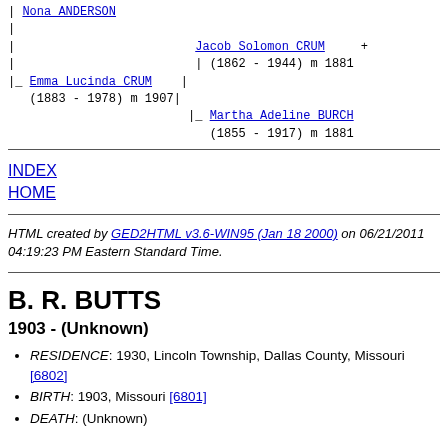| Nona ANDERSON
|
|                          Jacob Solomon CRUM    +
|                          | (1862 - 1944) m 1881
|_ Emma Lucinda CRUM    |
   (1883 - 1978) m 1907|
                          |_ Martha Adeline BURCH
                             (1855 - 1917) m 1881
INDEX
HOME
HTML created by GED2HTML v3.6-WIN95 (Jan 18 2000) on 06/21/2011 04:19:23 PM Eastern Standard Time.
B. R. BUTTS
1903 - (Unknown)
RESIDENCE: 1930, Lincoln Township, Dallas County, Missouri [6802]
BIRTH: 1903, Missouri [6801]
DEATH: (Unknown)